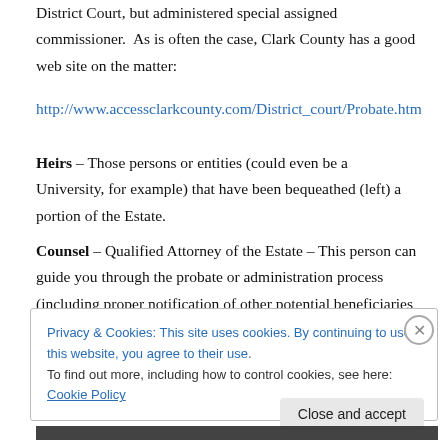District Court, but administered special assigned commissioner.  As is often the case, Clark County has a good web site on the matter:
http://www.accessclarkcounty.com/District_court/Probate.htm
Heirs – Those persons or entities (could even be a University, for example) that have been bequeathed (left) a portion of the Estate.
Counsel – Qualified Attorney of the Estate – This person can guide you through the probate or administration process (including proper notification of other potential beneficiaries of the estate) and can be helpful if a dispute arises with creditors or other potential heirs. At
Privacy & Cookies: This site uses cookies. By continuing to use this website, you agree to their use.
To find out more, including how to control cookies, see here: Cookie Policy
Close and accept